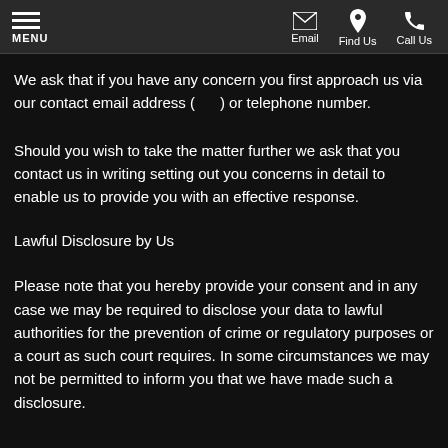MENU | Email | Find Us | Call Us
We ask that if you have any concern you first approach us via our contact email address (      ) or telephone number.
Should you wish to take the matter further we ask that you contact us in writing setting out you concerns in detail to enable us to provide you with an effective response.
Lawful Disclosure by Us
Please note that you hereby provide your consent and in any case we may be required to disclose your data to lawful authorities for the prevention of crime or regulatory purposes or a court as such court requires. In some circumstances we may not be permitted to inform you that we have made such a disclosure.